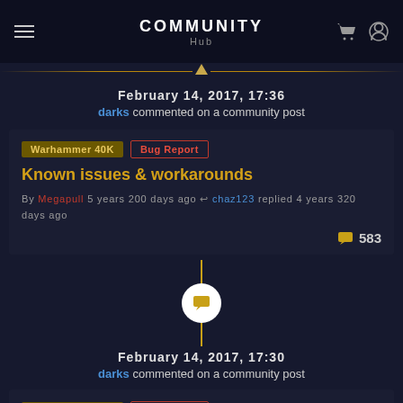COMMUNITY Hub
February 14, 2017, 17:36
darks commented on a community post
Warhammer 40K | Bug Report | Known issues & workarounds
By Megapull 5 years 200 days ago → chaz123 replied 4 years 320 days ago
583
[Figure (infographic): Timeline connector: vertical golden line with white circle containing a golden message/comment icon]
February 14, 2017, 17:30
darks commented on a community post
Warhammer 40K | Bug Report | Freez after 30 min
By Julius 5 years 198 days ago → Megapull replied 5 years 197 days